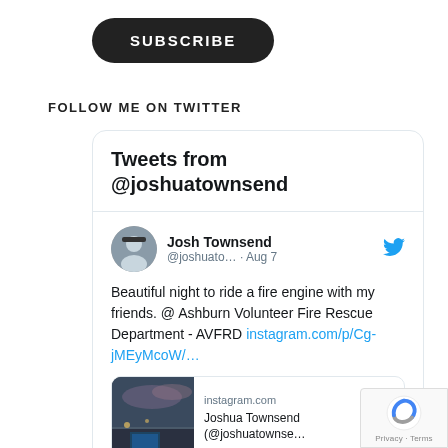[Figure (other): Dark rounded SUBSCRIBE button]
FOLLOW ME ON TWITTER
[Figure (screenshot): Twitter widget showing 'Tweets from @joshuatownsend' header and a tweet by Josh Townsend (@joshuato... · Aug 7) reading 'Beautiful night to ride a fire engine with my friends. @ Ashburn Volunteer Fire Rescue Department - AVFRD instagram.com/p/Cg-jMEyMcoW/...' with an instagram.com card showing 'Joshua Townsend (@joshuatownse...']